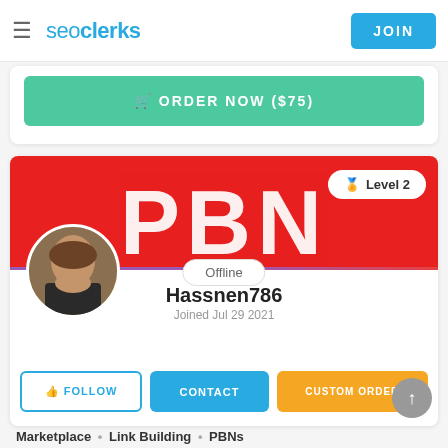seoclerks — JOIN
ORDER NOW ($75)
[Figure (screenshot): Profile banner with large red PBN text and Level 2 badge]
Offline
Hassnen786
Joined Jul 29 2021
FOLLOW   CONTACT   CUSTOM ORDER
Marketplace • Link Building • PBNs